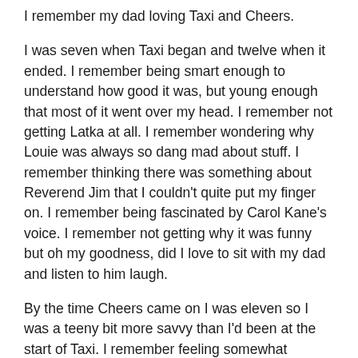I remember my dad loving Taxi and Cheers.
I was seven when Taxi began and twelve when it ended. I remember being smart enough to understand how good it was, but young enough that most of it went over my head. I remember not getting Latka at all. I remember wondering why Louie was always so dang mad about stuff. I remember thinking there was something about Reverend Jim that I couldn't quite put my finger on. I remember being fascinated by Carol Kane's voice. I remember not getting why it was funny but oh my goodness, did I love to sit with my dad and listen to him laugh.
By the time Cheers came on I was eleven so I was a teeny bit more savvy than I'd been at the start of Taxi. I remember feeling somewhat ambivalent to begin with. I remember wondering why Coach was so dumb. I